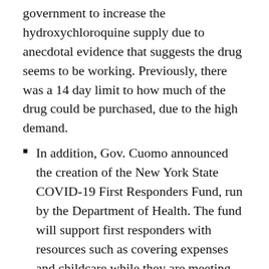government to increase the hydroxychloroquine supply due to anecdotal evidence that suggests the drug seems to be working. Previously, there was a 14 day limit to how much of the drug could be purchased, due to the high demand.
In addition, Gov. Cuomo announced the creation of the New York State COVID-19 First Responders Fund, run by the Department of Health. The fund will support first responders with resources such as covering expenses and childcare while they are meeting the urgent needs of the state.
The state is also partnering with Headspace to provide free mindfulness, meditation, and mental health resources to all New Yorkers at headspace.com/ny. New Yorkers can also call the